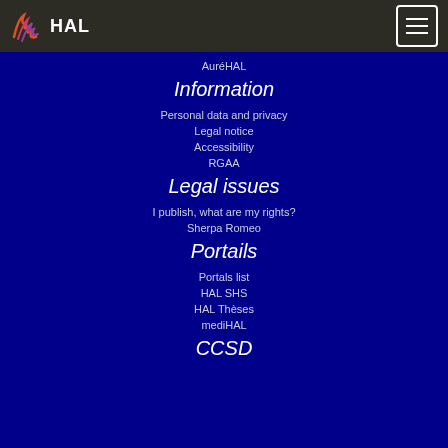HAL
AuréHAL
Information
Personal data and privacy
Legal notice
Accessibility
RGAA
Legal issues
I publish, what are my rights?
Sherpa Romeo
Portails
Portals list
HAL SHS
HAL Thèses
mediHAL
CCSD